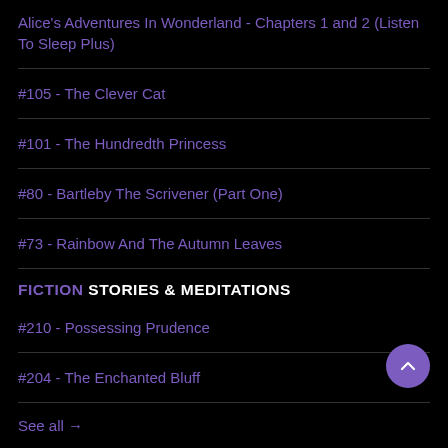Alice's Adventures In Wonderland - Chapters 1 and 2 (Listen To Sleep Plus)
#105 - The Clever Cat
#101 - The Hundredth Princess
#80 - Bartleby The Scrivener (Part One)
#73 - Rainbow And The Autumn Leaves
FICTION STORIES & MEDITATIONS
#210 - Possessing Prudence
#204 - The Enchanted Bluff
See all →
BONUS STORIES & MEDITATIONS